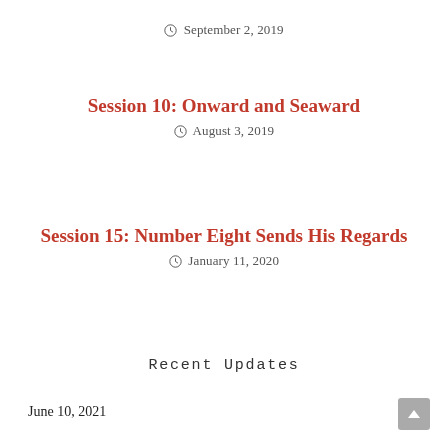September 2, 2019
Session 10: Onward and Seaward
August 3, 2019
Session 15: Number Eight Sends His Regards
January 11, 2020
Recent Updates
June 10, 2021